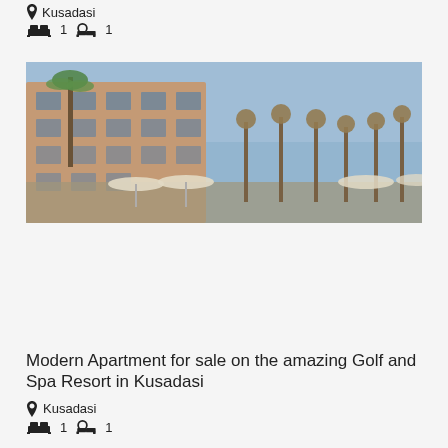Kusadasi
1  1
[Figure (photo): Exterior photo of a multi-storey apartment building with terracotta/sandy colored facade, balconies, palm trees, decorative lamp posts, parasols/umbrellas, and a blue sky background. Resort-style property in Kusadasi, Turkey.]
Modern Apartment for sale on the amazing Golf and Spa Resort in Kusadasi
Kusadasi
1  1